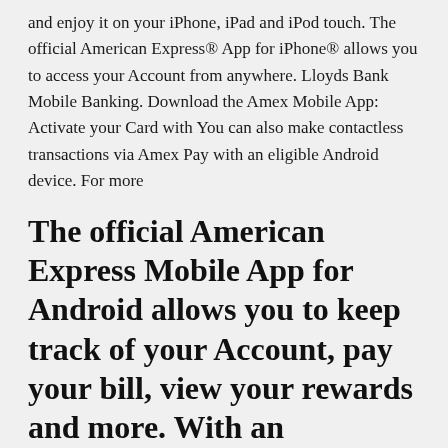and enjoy it on your iPhone, iPad and iPod touch. The official American Express® App for iPhone® allows you to access your Account from anywhere. Lloyds Bank Mobile Banking. Download the Amex Mobile App: Activate your Card with You can also make contactless transactions via Amex Pay with an eligible Android device. For more
The official American Express Mobile App for Android allows you to keep track of your Account, pay your bill, view your rewards and more. With an
ExpenseIt is now part of the SAP Concur mobile app where you can scan receipts and create expense reports, reimburse employees and access reports from your mobile. Check out the